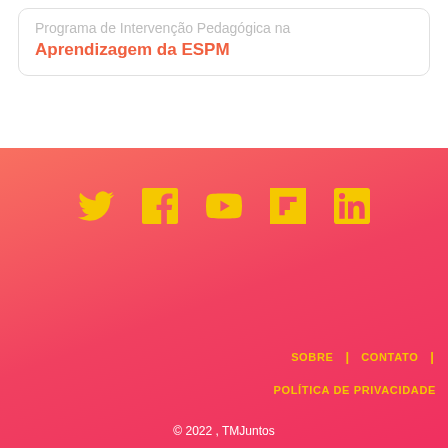Programa de Intervenção Pedagógica na Aprendizagem da ESPM
[Figure (infographic): Footer with social media icons (Twitter, Facebook, YouTube, Flipboard, LinkedIn) in yellow on a red-to-pink gradient background]
SOBRE | CONTATO |
POLÍTICA DE PRIVACIDADE
© 2022 , TMJuntos